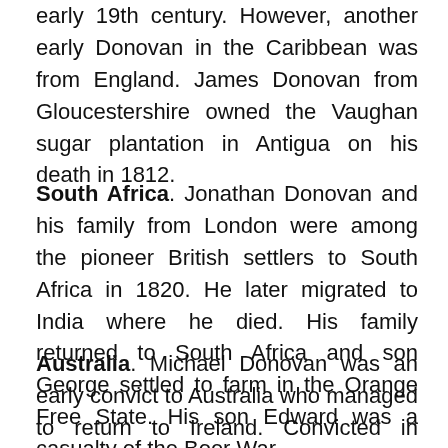early 19th century. However, another early Donovan in the Caribbean was from England. James Donovan from Gloucestershire owned the Vaughan sugar plantation in Antigua on his death in 1812.
South Africa. Jonathan Donovan and his family from London were among the pioneer British settlers to South Africa in 1820. He later migrated to India where he died. His family returned to South Africa and son George settled to farm in the Orange Free State. His son Edward was a casualty of the Boer War.
Australia. Michael Donovan was an early convict to Australia who managed to return to Ireland. Convicted in Tipperary in 1791 for shooting at the King's men, he was shipped out two years later.